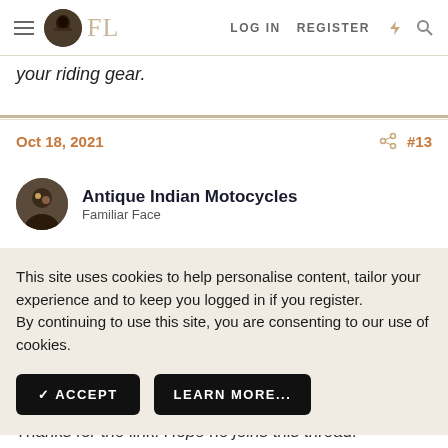FL — LOG IN   REGISTER
your riding gear.
Oct 18, 2021   #13
Antique Indian Motocycles
Familiar Face
This site uses cookies to help personalise content, tailor your experience and to keep you logged in if you register.
By continuing to use this site, you are consenting to our use of cookies.
✓ ACCEPT   LEARN MORE...
https://www.thefedoralounge.com/threads/lets-see-those-motorcycle-jackets.96/ourpage=28&post=2832666
Thanks for the link. Hope he joins this thread.